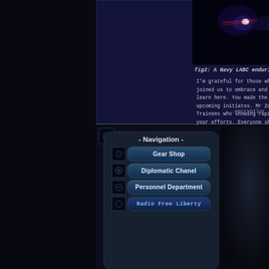[Figure (screenshot): Screenshot of a space game showing a Navy LABC ship enduring SNAC shots in a dark space environment with laser effects]
fig2: A Navy LABC enduring SNAC shots, just to fl
I'm grateful for those who listened the c joined us to embrace and spread the dis learn here. You made the right choice. L upcoming initiates. Mr Zokas, Mr Krista Trainees who showing rapid progress a your efforts. Everyone should.
...encryption
[Figure (screenshot): Navigation panel UI from a space game showing menu buttons: - Navigation -, Gear Shop, Diplomatic Chanel, Personnel Department, Radio Free Liberty]